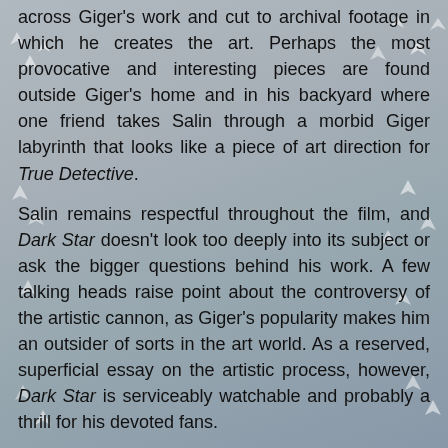across Giger's work and cut to archival footage in which he creates the art. Perhaps the most provocative and interesting pieces are found outside Giger's home and in his backyard where one friend takes Salin through a morbid Giger labyrinth that looks like a piece of art direction for True Detective.
Salin remains respectful throughout the film, and Dark Star doesn't look too deeply into its subject or ask the bigger questions behind his work. A few talking heads raise point about the controversy of the artistic cannon, as Giger's popularity makes him an outsider of sorts in the art world. As a reserved, superficial essay on the artistic process, however, Dark Star is serviceably watchable and probably a thrill for his devoted fans.
Giger's world actually isn't very dark or morbid, despite the dim lighting of his abode and presence of the black shirt that he wears in every single shot. Either the man never changed or Salin shot the film in one day, which might be the most provocative question of the film. Dark Star probably has enough material to make a better thirty-minute short, since Giger himself is always performing for the camera. Salin seems the b...